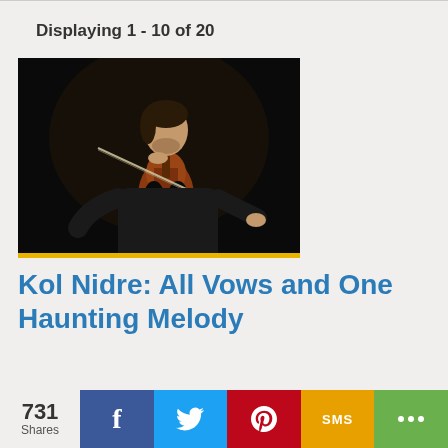Displaying 1 - 10 of 20
[Figure (photo): A musician playing a cello against a dark background, wearing a black shirt]
Kol Nidre: All Vows and One Haunting Melody
By Cantor Lauren Phillips
731 Shares